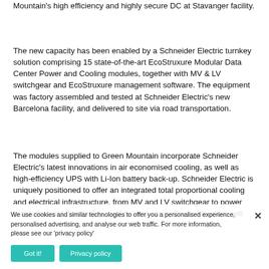Mountain's high efficiency and highly secure DC at Stavanger facility.
The new capacity has been enabled by a Schneider Electric turnkey solution comprising 15 state-of-the-art EcoStruxure Modular Data Center Power and Cooling modules, together with MV & LV switchgear and EcoStruxure management software. The equipment was factory assembled and tested at Schneider Electric's new Barcelona facility, and delivered to site via road transportation.
The modules supplied to Green Mountain incorporate Schneider Electric's latest innovations in air economised cooling, as well as high-efficiency UPS with Li-Ion battery back-up. Schneider Electric is uniquely positioned to offer an integrated total proportional cooling and electrical infrastructure, from MV and LV switchgear to power protection and distribution, and cooling plant. Green Mountain will
We use cookies and similar technologies to offer you a personalised experience, personalised advertising, and analyse our web traffic. For more information, please see our 'privacy policy'